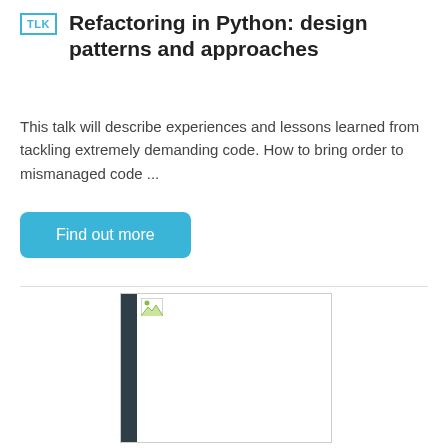TLK Refactoring in Python: design patterns and approaches
This talk will describe experiences and lessons learned from tackling extremely demanding code. How to bring order to mismanaged code ...
Find out more
[Figure (photo): Broken/missing image placeholder with dark left bar]